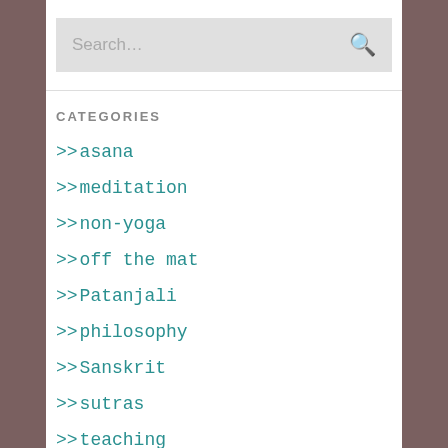[Figure (other): Search bar with placeholder text 'Search...' and a search icon on the right]
CATEGORIES
>>asana
>>meditation
>>non-yoga
>>off the mat
>>Patanjali
>>philosophy
>>Sanskrit
>>sutras
>>teaching
>>YTT 200